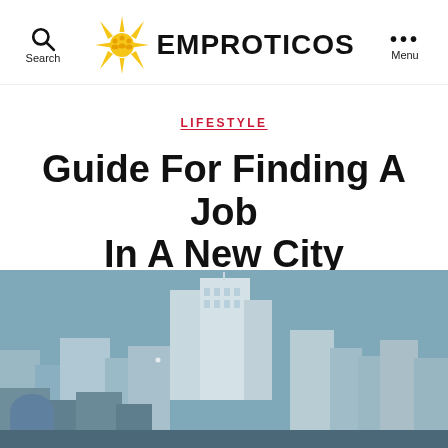Search | EMPROTICOS | Menu
LIFESTYLE
Guide For Finding A Job In A New City
[Figure (illustration): Illustrated city skyline with buildings in muted blue-grey tones against a grey-blue sky background, featuring various skyscrapers and mid-rise buildings silhouetted.]